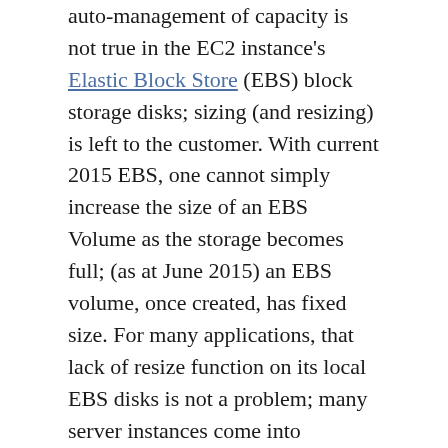auto-management of capacity is not true in the EC2 instance's Elastic Block Store (EBS) block storage disks; sizing (and resizing) is left to the customer. With current 2015 EBS, one cannot simply increase the size of an EBS Volume as the storage becomes full; (as at June 2015) an EBS volume, once created, has fixed size. For many applications, that lack of resize function on its local EBS disks is not a problem; many server instances come into existence for a brief period, process some data and then get Terminated, so long term managment is not needed.
However for a long term data store on an instance (instead of S3, which I would recommend looking closely at from a durability